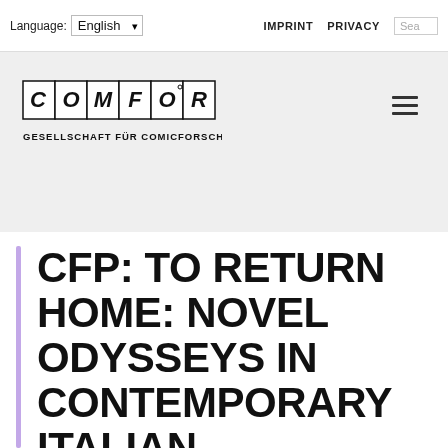Language: English  IMPRINT  PRIVACY  Sea
[Figure (logo): COMFOR logo with stylized lettering inside individual bordered boxes, subtitle: GESELLSCHAFT FÜR COMICFORSCHUNG]
CFP: TO RETURN HOME: NOVEL ODYSSEYS IN CONTEMPORARY ITALIAN LITERATURE AND VISUAL ARTS